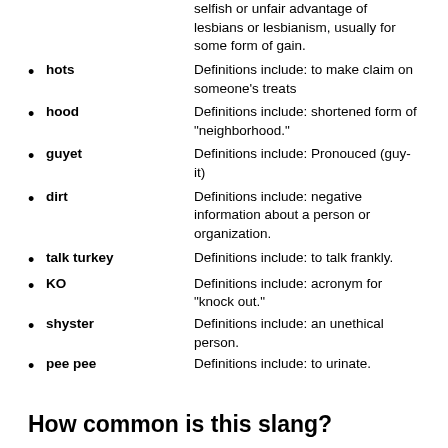selfish or unfair advantage of lesbians or lesbianism, usually for some form of gain.
hots — Definitions include: to make claim on someone's treats
hood — Definitions include: shortened form of "neighborhood."
guyet — Definitions include: Pronouced (guy-it)
dirt — Definitions include: negative information about a person or organization.
talk turkey — Definitions include: to talk frankly.
KO — Definitions include: acronym for "knock out."
shyster — Definitions include: an unethical person.
pee pee — Definitions include: to urinate.
How common is this slang?
Temporarily disabled on mobile WebKit due to Mobilegeddon. Sorry.